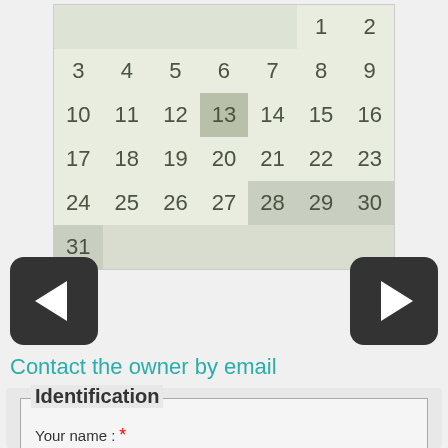[Figure (other): A calendar grid showing a month with days 1-31. Days 1-2 appear in the first row. Days 3-9 in second row. Days 10-16 third row (13 highlighted darker). Days 17-23 fourth row. Days 24-27 in fifth row then 28-30 in darker cells. 31 in last row. Navigation arrows (left and right) below.]
Contact the owner by email
Identification
Your name : *